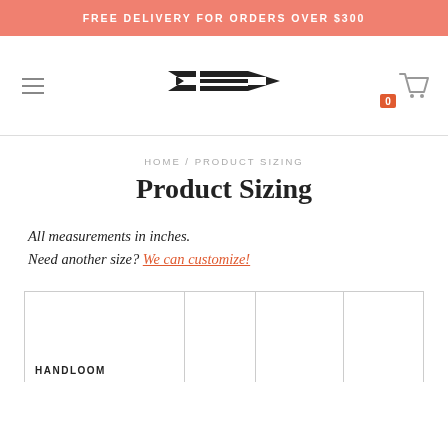FREE DELIVERY FOR ORDERS OVER $300
[Figure (logo): Brand logo with stylized X and horizontal lines]
HOME / PRODUCT SIZING
Product Sizing
All measurements in inches.
Need another size? We can customize!
| HANDLOOM |  |  |  |
| --- | --- | --- | --- |